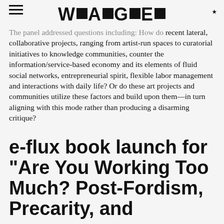W■A■G■E■
The panel addressed questions including: How do recent lateral, collaborative projects, ranging from artist-run spaces to curatorial initiatives to knowledge communities, counter the information/service-based economy and its elements of fluid social networks, entrepreneurial spirit, flexible labor management and interactions with daily life? Or do these art projects and communities utilize these factors and build upon them—in turn aligning with this mode rather than producing a disarming critique?
e-flux book launch for "Are You Working Too Much? Post-Fordism, Precarity, and